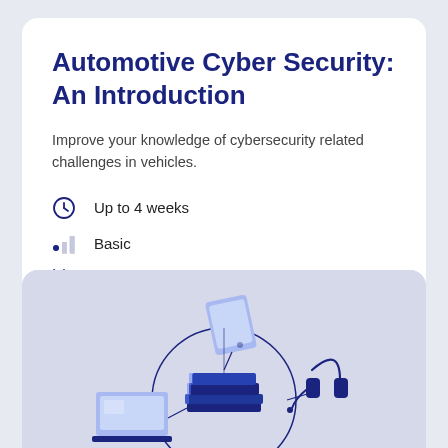Automotive Cyber Security: An Introduction
Improve your knowledge of cybersecurity related challenges in vehicles.
Up to 4 weeks
Basic
Free
[Figure (illustration): Illustration showing connected devices: laptop, tablet, books, and headset arranged around a circle, representing e-learning resources.]